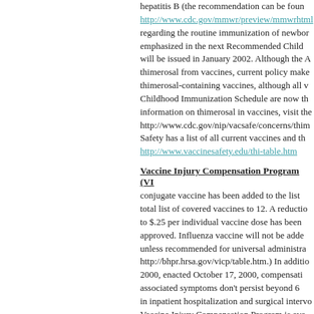hepatitis B (the recommendation can be found at http://www.cdc.gov/mmwr/preview/mmwrhtml/... regarding the routine immunization of newborns emphasized in the next Recommended Childhood... will be issued in January 2002. Although the A... thimerosal from vaccines, current policy make... thimerosal-containing vaccines, although all v... Childhood Immunization Schedule are now th... information on thimerosal in vaccines, visit th... http://www.cdc.gov/nip/vacsafe/concerns/thim... Safety has a list of all current vaccines and th... http://www.vaccinesafety.edu/thi-table.htm
Vaccine Injury Compensation Program (VI...
conjugate vaccine has been added to the list total list of covered vaccines to 12. A reductio... to $.25 per individual vaccine dose has been approved. Influenza vaccine will not be adde... unless recommended for universal administra... http://bhpr.hrsa.gov/vicp/table.htm.) In additio... 2000, enacted October 17, 2000, compensati... associated symptoms don't persist beyond 6 ... in inpatient hospitalization and surgical interv... Vaccine Injury Compensation Program is ava... the Children's Health Act of 2000 can be foun... bin/query/z?c106:H.R.4365.ENR:
© Copyright 2022. National Network for Immunization Infor... National Network for Immunization Information Web site sh... care and advice of your health care provider. There may be... provider may recommend based on individual facts o...